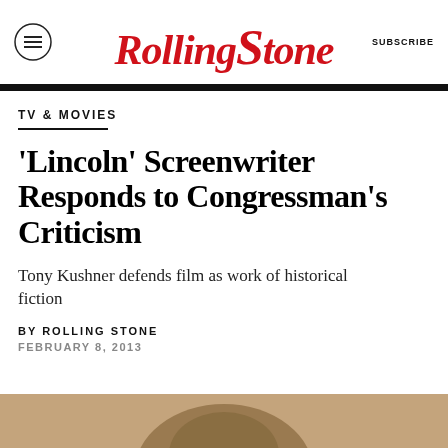Rolling Stone | SUBSCRIBE
TV & MOVIES
'Lincoln' Screenwriter Responds to Congressman's Criticism
Tony Kushner defends film as work of historical fiction
BY ROLLING STONE
FEBRUARY 8, 2013
[Figure (photo): Partial photo showing a person, cropped at bottom of page, warm tan/brown tones]